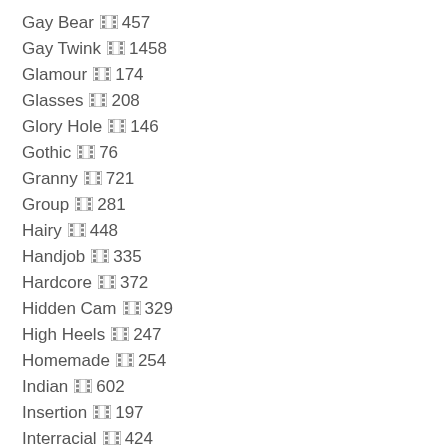Gay Bear 🎞 457
Gay Twink 🎞 1458
Glamour 🎞 174
Glasses 🎞 208
Glory Hole 🎞 146
Gothic 🎞 76
Granny 🎞 721
Group 🎞 281
Hairy 🎞 448
Handjob 🎞 335
Hardcore 🎞 372
Hidden Cam 🎞 329
High Heels 🎞 247
Homemade 🎞 254
Indian 🎞 602
Insertion 🎞 197
Interracial 🎞 424